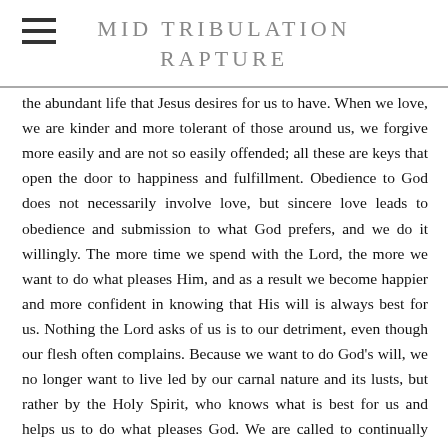MID TRIBULATION RAPTURE
the abundant life that Jesus desires for us to have. When we love, we are kinder and more tolerant of those around us, we forgive more easily and are not so easily offended; all these are keys that open the door to happiness and fulfillment. Obedience to God does not necessarily involve love, but sincere love leads to obedience and submission to what God prefers, and we do it willingly. The more time we spend with the Lord, the more we want to do what pleases Him, and as a result we become happier and more confident in knowing that His will is always best for us. Nothing the Lord asks of us is to our detriment, even though our flesh often complains. Because we want to do God's will, we no longer want to live led by our carnal nature and its lusts, but rather by the Holy Spirit, who knows what is best for us and helps us to do what pleases God. We are called to continually choose to do the will of God, which is good, pleasing, and perfect.